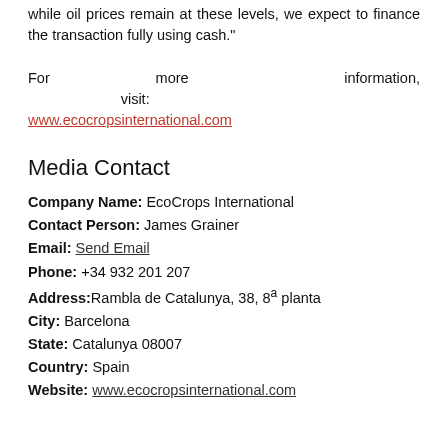while oil prices remain at these levels, we expect to finance the transaction fully using cash."
For more information, visit: www.ecocropsinternational.com
Media Contact
Company Name: EcoCrops International
Contact Person: James Grainer
Email: Send Email
Phone: +34 932 201 207
Address: Rambla de Catalunya, 38, 8ª planta
City: Barcelona
State: Catalunya 08007
Country: Spain
Website: www.ecocropsinternational.com